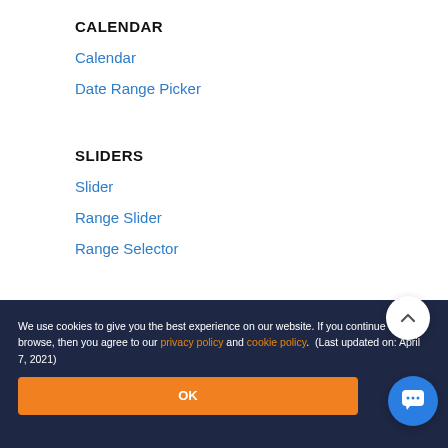CALENDAR
Calendar
Date Range Picker
SLIDERS
Slider
Range Slider
Range Selector
VIEWER
We use cookies to give you the best experience on our website. If you continue to browse, then you agree to our privacy policy and cookie policy.  (Last updated on: April 7, 2021)
OK